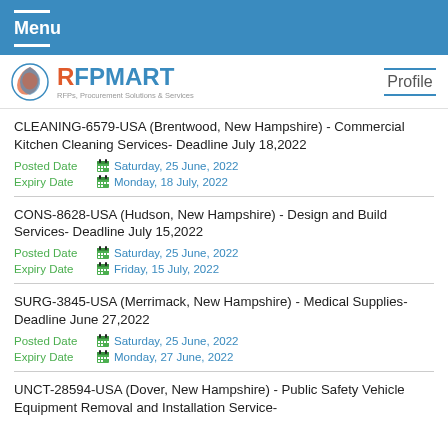Menu
[Figure (logo): RFPMART logo with tagline: RFPs, Procurement Solutions & Services]
CLEANING-6579-USA (Brentwood, New Hampshire) - Commercial Kitchen Cleaning Services- Deadline July 18,2022
Posted Date: Saturday, 25 June, 2022
Expiry Date: Monday, 18 July, 2022
CONS-8628-USA (Hudson, New Hampshire) - Design and Build Services- Deadline July 15,2022
Posted Date: Saturday, 25 June, 2022
Expiry Date: Friday, 15 July, 2022
SURG-3845-USA (Merrimack, New Hampshire) - Medical Supplies- Deadline June 27,2022
Posted Date: Saturday, 25 June, 2022
Expiry Date: Monday, 27 June, 2022
UNCT-28594-USA (Dover, New Hampshire) - Public Safety Vehicle Equipment Removal and Installation Service-